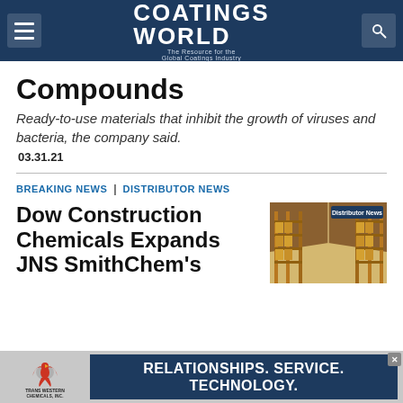Coatings World — The Resource for the Global Coatings Industry
Compounds
Ready-to-use materials that inhibit the growth of viruses and bacteria, the company said.
03.31.21
BREAKING NEWS | DISTRIBUTOR NEWS
[Figure (photo): Warehouse shelving/racking with boxes, with a 'Distributor News' badge overlay]
Dow Construction Chemicals Expands JNS SmithChem's
[Figure (infographic): Trans Western Chemicals Inc. advertisement banner: logo with phoenix/bird graphic and text 'RELATIONSHIPS. SERVICE. TECHNOLOGY.']